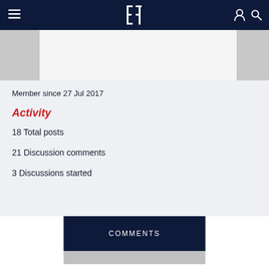Navigation bar with hamburger menu, logo, user icon, and search icon
[Figure (photo): Partial image strip showing gray image panels on left and right sides with white center]
Member since 27 Jul 2017
Activity
18 Total posts
21 Discussion comments
3 Discussions started
COMMENTS